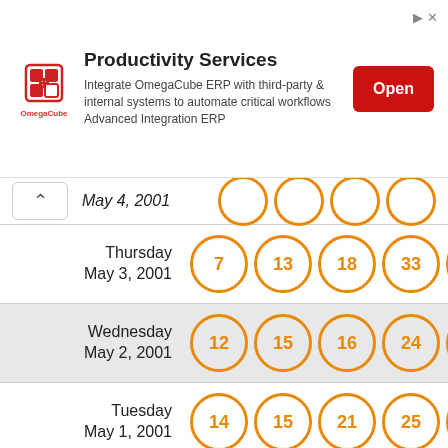[Figure (other): OmegaCube ERP advertisement banner with logo, text about Productivity Services, and Open button]
| Date | Ball 1 | Ball 2 | Ball 3 | Ball 4 | Ball 5 |
| --- | --- | --- | --- | --- | --- |
| Thursday May 3, 2001 | 7 | 13 | 18 | 33 | 34 |
| Wednesday May 2, 2001 | 12 | 15 | 16 | 24 | 27 |
| Tuesday May 1, 2001 | 14 | 15 | 21 | 25 | 31 |
| Monday April 30, 2001 | 9 | 11 | 23 | 28 | 29 |
| Sunday April 29, 2001 | 7 | 17 | 19 | 30 | 32 |
| Saturday | ... | ... | ... | ... | ... |